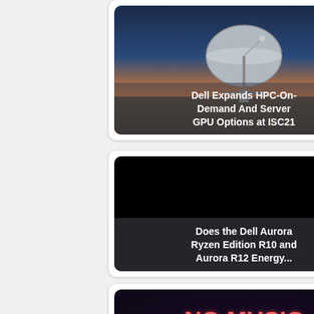[Figure (photo): Card with satellite dish photo at sunset and title overlay 'Dell Expands HPC-On-Demand And Server GPU Options at ISC21']
[Figure (photo): Card with black background and title overlay 'Does the Dell Aurora Ryzen Edition R10 and Aurora R12 Energy...']
[Figure (photo): Card with neon sign 'NO MUSIC NO LIFE' photo and title overlay 'Dell Expands HPC-On-Demand And Server GPU Options, Debuting...']